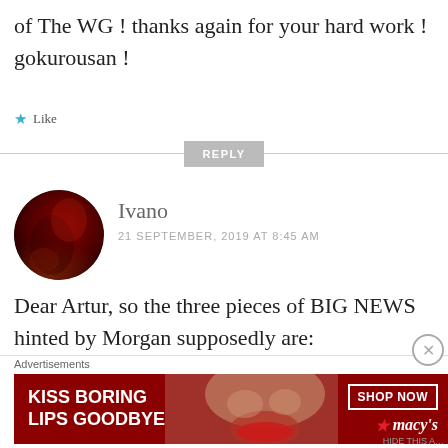of The WG ! thanks again for your hard work ! gokurousan !
Like
REPLY
[Figure (photo): Circular avatar image of user Ivano, dark red tones]
Ivano
21 SEPTEMBER, 2019 AT 8:45 AM
Dear Artur, so the three pieces of BIG NEWS hinted by Morgan supposedly are:
[Figure (photo): Macy's advertisement banner: KISS BORING LIPS GOODBYE with SHOP NOW button and Macy's logo, featuring a woman's face with red lipstick]